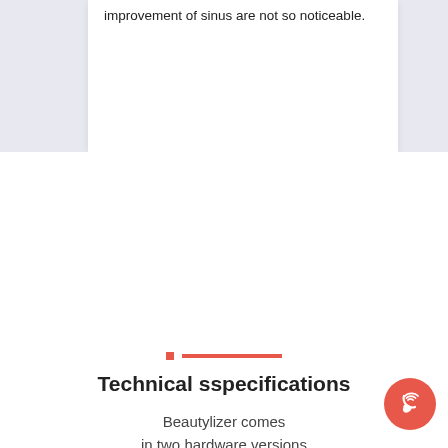improvement of sinus are not so noticeable.
Technical sspecifications
Beautylizer comes in two hardware versions
[Figure (other): Red STT button with white bold label text 'STT']
[Figure (other): Circular red call/phone button with wifi-style phone icon in bottom right corner]